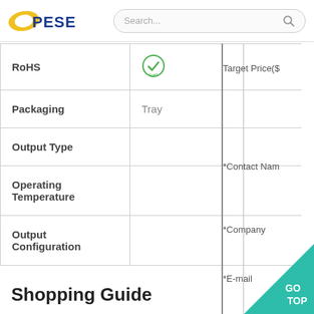[Figure (logo): PESE company logo with yellow wing and blue text]
| Property | Value |
| --- | --- |
| RoHS | (RoHS checkmark icon) |
| Packaging | Tray |
| Output Type |  |
| Operating Temperature |  |
| Output Configuration |  |
Target Price($)
*Contact Name
*Company
*E-mail
Shopping Guide